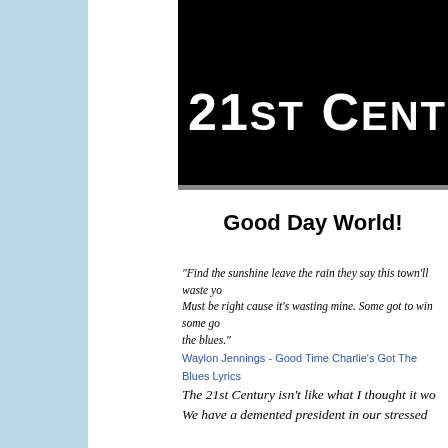[Figure (screenshot): Black banner image with white text reading '21st Century Bl...' (truncated), style resembling a blog header]
Good Day World!
"Find the sunshine leave the rain they say this town'll waste yo... Must be right cause it's wasting mine. Some got to win some go... the blues."
Waylon Jennings - Good Time Charlie's Got The Blues Lyrics
The 21st Century isn't like what I thought it wo... We have a demented president in our stressed...